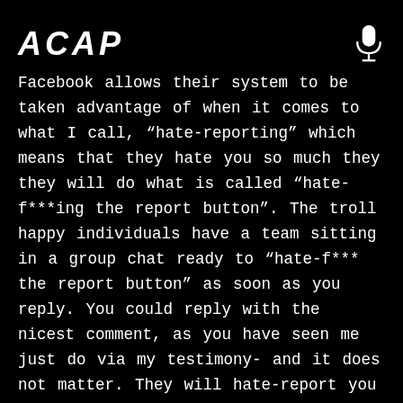ACAP
Facebook allows their system to be taken advantage of when it comes to what I call, “hate-reporting” which means that they hate you so much they they will do what is called “hate-f***ing the report button”. The troll happy individuals have a team sitting in a group chat ready to “hate-f*** the report button” as soon as you reply. You could reply with the nicest comment, as you have seen me just do via my testimony- and it does not matter. They will hate-report you anyways. It’s a trap, and a way for hate-groups to dodge any kind of accountability. However, when you can trace back on your actions- (via browser history or from memory), then you will know who the most probable person hate